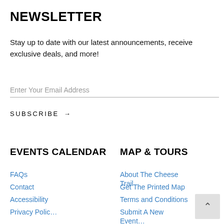NEWSLETTER
Stay up to date with our latest announcements, receive exclusive deals, and more!
Enter Your Email Address
SUBSCRIBE →
EVENTS CALENDAR
MAP & TOURS
FAQs
Contact
Accessibility
About The Cheese Trail
Get The Printed Map
Terms and Conditions